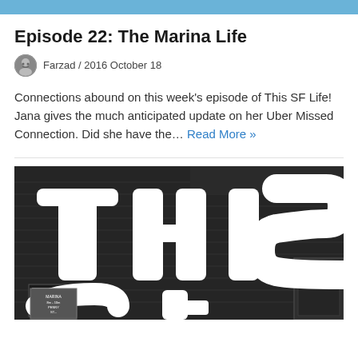Episode 22: The Marina Life
Farzad / 2016 October 18
Connections abound on this week's episode of This SF Life! Jana gives the much anticipated update on her Uber Missed Connection. Did she have the… Read More »
[Figure (photo): Dark stylized photo of a building exterior with large white bold text reading 'THIS' and partially visible 'SF' below, in a high-contrast graphic style.]